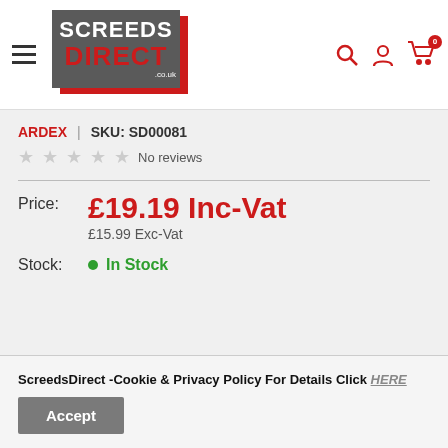[Figure (logo): Screeds Direct logo with grey and red branding]
ARDEX | SKU: SD00081
★★★★★ No reviews
Price: £19.19 Inc-Vat £15.99 Exc-Vat
Stock: In Stock
ScreedsDirect -Cookie & Privacy Policy For Details Click HERE
Accept